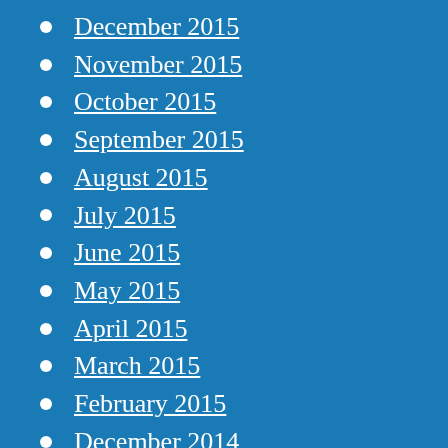December 2015
November 2015
October 2015
September 2015
August 2015
July 2015
June 2015
May 2015
April 2015
March 2015
February 2015
December 2014
November 2014
October 2014
September 2014
August 2014
July 2014